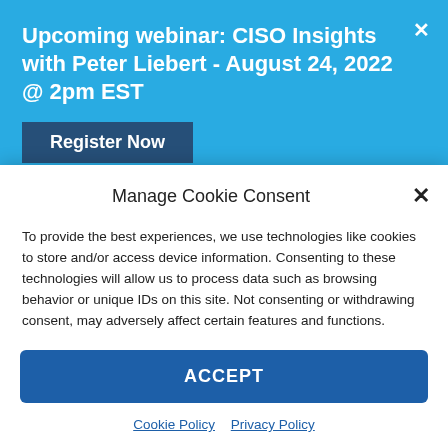Upcoming webinar: CISO Insights with Peter Liebert - August 24, 2022 @ 2pm EST
Register Now
challenge.  Applying outside threat intelligence and having security analysts on staff that are
Manage Cookie Consent
To provide the best experiences, we use technologies like cookies to store and/or access device information. Consenting to these technologies will allow us to process data such as browsing behavior or unique IDs on this site. Not consenting or withdrawing consent, may adversely affect certain features and functions.
ACCEPT
Cookie Policy  Privacy Policy